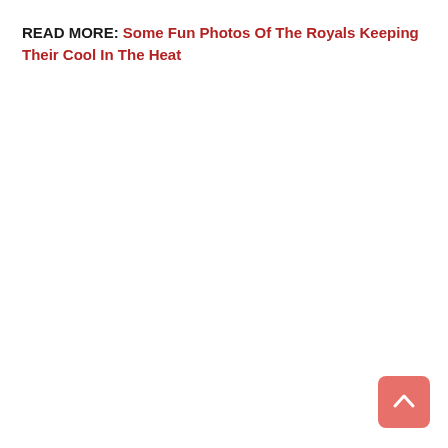READ MORE: Some Fun Photos Of The Royals Keeping Their Cool In The Heat